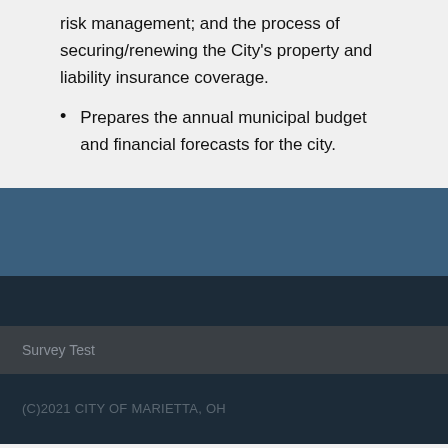risk management; and the process of securing/renewing the City's property and liability insurance coverage.
Prepares the annual municipal budget and financial forecasts for the city.
Survey Test
(C)2021 CITY OF MARIETTA, OH